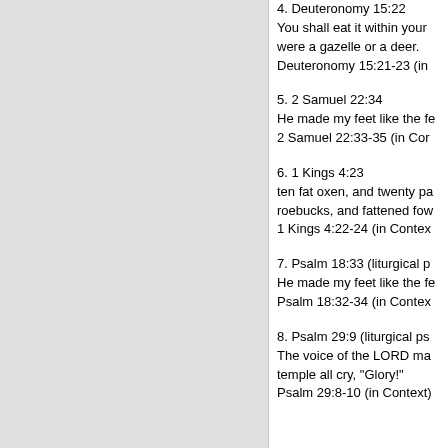4. Deuteronomy 15:22
You shall eat it within your gates, as though it were a gazelle or a deer.
Deuteronomy 15:21-23 (in Context)
5. 2 Samuel 22:34
He made my feet like the feet of a deer.
2 Samuel 22:33-35 (in Context)
6. 1 Kings 4:23
ten fat oxen, and twenty pasture-fed cattle, a hundred sheep, besides deer, gazelles, roebucks, and fattened fowl.
1 Kings 4:22-24 (in Context)
7. Psalm 18:33 (liturgical psalm)
He made my feet like the feet of a deer.
Psalm 18:32-34 (in Context)
8. Psalm 29:9 (liturgical psalm)
The voice of the LORD makes the deer give birth and strips the forests bare, and in his temple all cry, "Glory!"
Psalm 29:8-10 (in Context)